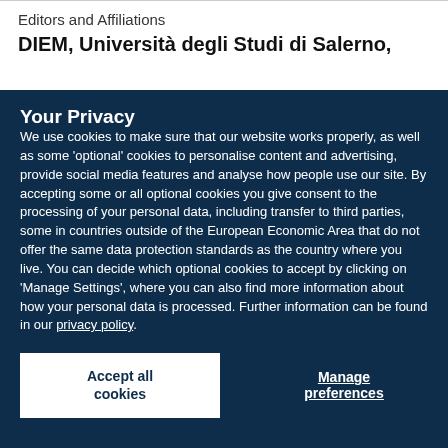Editors and Affiliations
DIEM, Università degli Studi di Salerno,
Your Privacy
We use cookies to make sure that our website works properly, as well as some 'optional' cookies to personalise content and advertising, provide social media features and analyse how people use our site. By accepting some or all optional cookies you give consent to the processing of your personal data, including transfer to third parties, some in countries outside of the European Economic Area that do not offer the same data protection standards as the country where you live. You can decide which optional cookies to accept by clicking on 'Manage Settings', where you can also find more information about how your personal data is processed. Further information can be found in our privacy policy.
Accept all cookies
Manage preferences